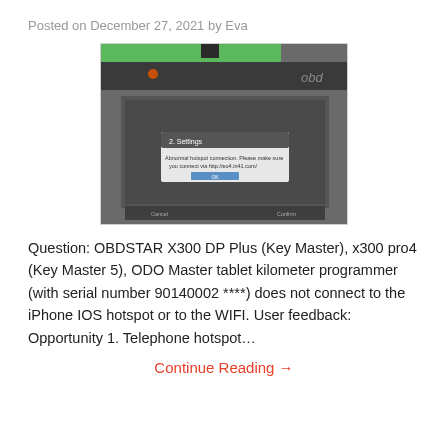Posted on December 27, 2021 by Eva
[Figure (photo): Photo of an OBDSTAR diagnostic tablet device showing a dark screen with a dialog box/error message, the device has a green trim edge visible at top and a USB cable connected]
Question: OBDSTAR X300 DP Plus (Key Master), x300 pro4 (Key Master 5), ODO Master tablet kilometer programmer (with serial number 90140002 ****) does not connect to the iPhone IOS hotspot or to the WIFI. User feedback: Opportunity 1. Telephone hotspot…
Continue Reading →